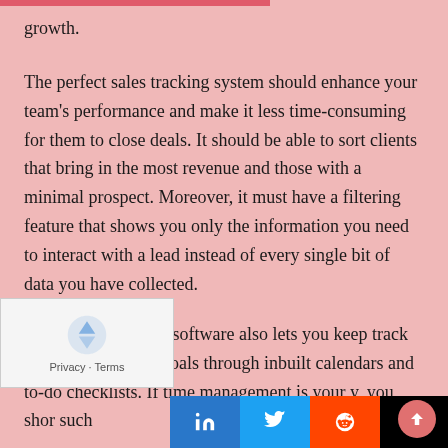growth.
The perfect sales tracking system should enhance your team's performance and make it less time-consuming for them to close deals. It should be able to sort clients that bring in the most revenue and those with a minimal prospect. Moreover, it must have a filtering feature that shows you only the information you need to interact with a lead instead of every single bit of data you have collected.
Some sales tracking software also lets you keep track of marketing/sales goals through inbuilt calendars and to-do checklists. If time management is your top priority, you should look for such software.